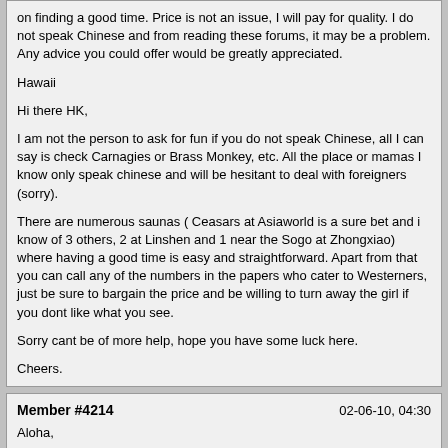on finding a good time. Price is not an issue, I will pay for quality. I do not speak Chinese and from reading these forums, it may be a problem. Any advice you could offer would be greatly appreciated.

Hawaii

Hi there HK,

I am not the person to ask for fun if you do not speak Chinese, all I can say is check Carnagies or Brass Monkey, etc. All the place or mamas I know only speak chinese and will be hesitant to deal with foreigners (sorry).

There are numerous saunas ( Ceasars at Asiaworld is a sure bet and i know of 3 others, 2 at Linshen and 1 near the Sogo at Zhongxiao) where having a good time is easy and straightforward. Apart from that you can call any of the numbers in the papers who cater to Westerners, just be sure to bargain the price and be willing to turn away the girl if you dont like what you see.

Sorry cant be of more help, hope you have some luck here.

Cheers.
Member #4214 | 02-06-10, 04:30

Aloha,

I will be in Taipei for business in a few weeks and would appreciate any advice on finding a good time. Price is not an issue, I will pay for quality. I do not speak Chinese and from reading these forums, it may be a problem. Any advice you could offer would be greatly appreciated.

Hawaii

Tried to send you a PM but apparently you don't have PM privileges. I have HI ties as well. Get some PM privilege and I'm happy to take the convo offline.

Mahalo plenty